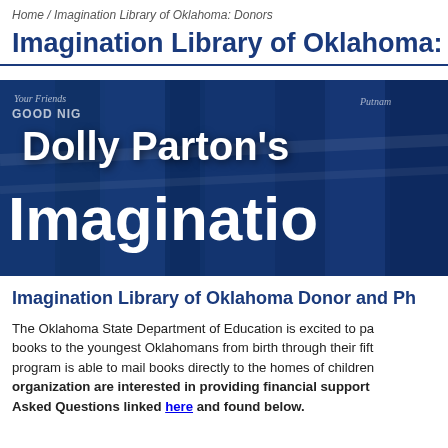Home / Imagination Library of Oklahoma: Donors
Imagination Library of Oklahoma: Donors
[Figure (photo): Dolly Parton's Imagination Library banner image showing stacked books with blue overlay and large white bold text reading 'Dolly Parton's Imagination' (cropped)]
Imagination Library of Oklahoma Donor and Ph...
The Oklahoma State Department of Education is excited to pa... books to the youngest Oklahomans from birth through their fift... program is able to mail books directly to the homes of children... organization are interested in providing financial support... Asked Questions linked here and found below.